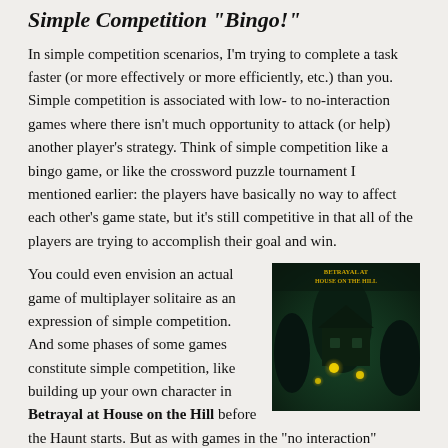Simple Competition "Bingo!"
In simple competition scenarios, I'm trying to complete a task faster (or more effectively or more efficiently, etc.) than you. Simple competition is associated with low- to no-interaction games where there isn't much opportunity to attack (or help) another player's strategy. Think of simple competition like a bingo game, or like the crossword puzzle tournament I mentioned earlier: the players have basically no way to affect each other's game state, but it's still competitive in that all of the players are trying to accomplish their goal and win.
[Figure (photo): Board game box cover for 'Betrayal at House on the Hill' featuring a dark green haunted house scene with glowing orbs]
You could even envision an actual game of multiplayer solitaire as an expression of simple competition. And some phases of some games constitute simple competition, like building up your own character in Betrayal at House on the Hill before the Haunt starts. But as with games in the "no interaction" category, there are few examples of published, commercial games available that rely strictly on simple competition.
Marriage of Convenience "The enemy of my enemy